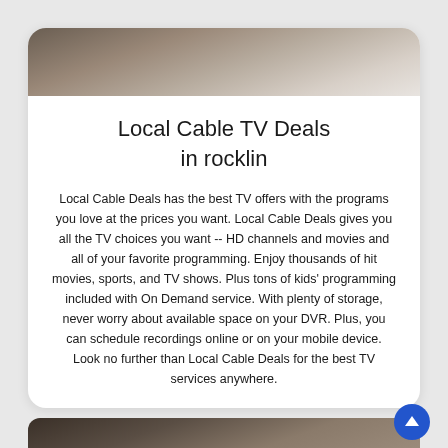[Figure (photo): Top portion of a photo showing a person in a plaid shirt, partially visible at the top of the card]
Local Cable TV Deals
in rocklin
Local Cable Deals has the best TV offers with the programs you love at the prices you want. Local Cable Deals gives you all the TV choices you want -- HD channels and movies and all of your favorite programming. Enjoy thousands of hit movies, sports, and TV shows. Plus tons of kids’ programming included with On Demand service. With plenty of storage, never worry about available space on your DVR. Plus, you can schedule recordings online or on your mobile device. Look no further than Local Cable Deals for the best TV services anywhere.
[Figure (photo): Bottom photo showing a man smiling, partially visible at the bottom of the page]